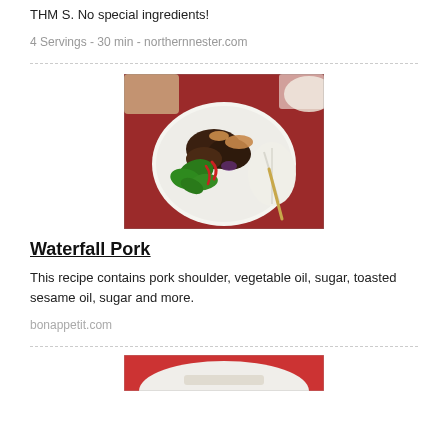THM S. No special ingredients!
4 Servings - 30 min - northernnester.com
[Figure (photo): A bowl of Waterfall Pork dish with greens, meat, and garnishes on a red background]
Waterfall Pork
This recipe contains pork shoulder, vegetable oil, sugar, toasted sesame oil, sugar and more.
bonappetit.com
[Figure (photo): Partial view of another food dish, bottom of page]